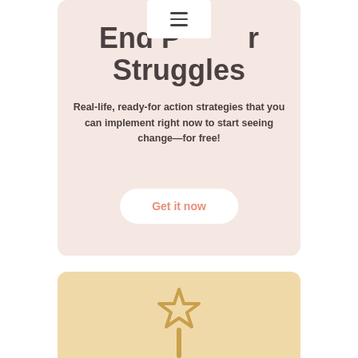End Power Struggles
Real-life, ready-for action strategies that you can implement right now to start seeing change—for free!
Get it now
[Figure (illustration): Star wand illustration on a tan/golden background card, partially visible at bottom of page]